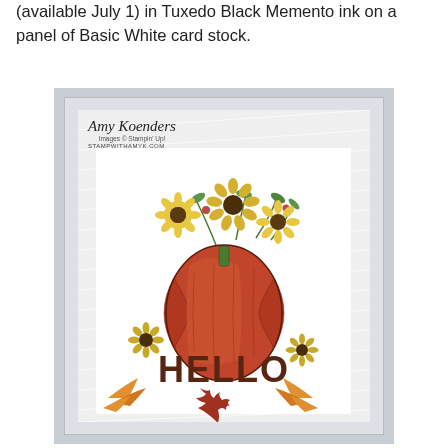(available July 1) in Tuxedo Black Memento ink on a panel of Basic White card stock.
[Figure (photo): A handmade fall greeting card by Amy Koenders featuring a large red-orange pumpkin with sunflowers and greenery on top, the word HELLO in bold brown letters, and orange/red autumn leaves at the bottom. Card is on a light gray background. Watermark reads 'Amy Koenders, Images © Stampin' Up!, STAMPWITHAMYK.COM'.]